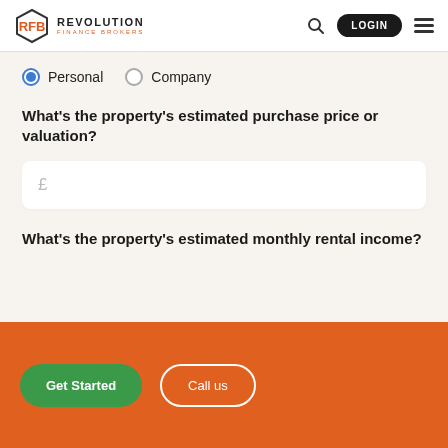REVOLUTION FINANCE BROKERS
Personal (selected), Company
What's the property's estimated purchase price or valuation?
£
What's the property's estimated monthly rental income?
Get Started | Call us